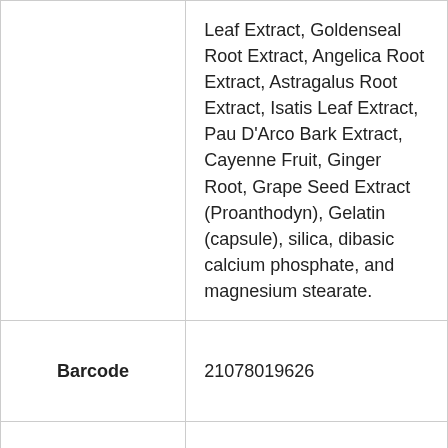|  |  |
| --- | --- |
|  | Leaf Extract, Goldenseal Root Extract, Angelica Root Extract, Astragalus Root Extract, Isatis Leaf Extract, Pau D'Arco Bark Extract, Cayenne Fruit, Ginger Root, Grape Seed Extract (Proanthodyn), Gelatin (capsule), silica, dibasic calcium phosphate, and magnesium stearate. |
| Barcode | 21078019626 |
| Storage Instructions | Store in a cool, dark place out of reach of children |
|  |  |